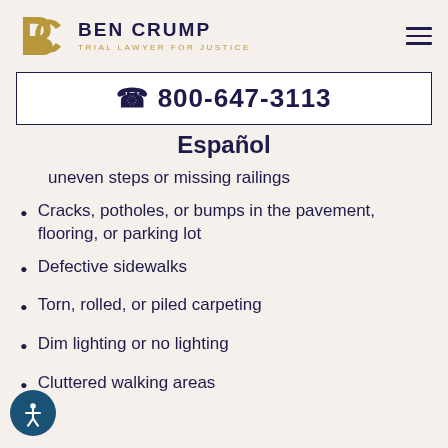[Figure (logo): Ben Crump Trial Lawyer for Justice logo with gold BC monogram and dark navy text]
☎ 800-647-3113
Español
uneven steps or missing railings
Cracks, potholes, or bumps in the pavement, flooring, or parking lot
Defective sidewalks
Torn, rolled, or piled carpeting
Dim lighting or no lighting
Cluttered walking areas